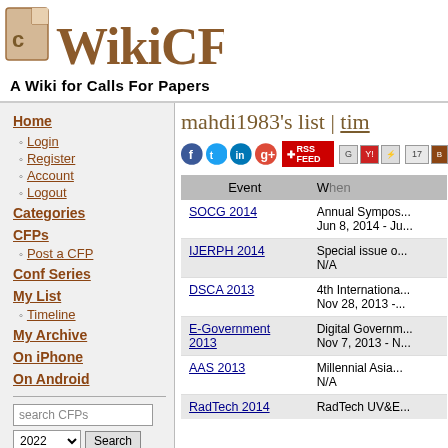[Figure (logo): WikiCFP logo with document icon and stylized text]
A Wiki for Calls For Papers
Home
Login
Register
Account
Logout
Categories
CFPs
Post a CFP
Conf Series
My List
Timeline
My Archive
On iPhone
On Android
mahdi1983's list | tim
| Event | W... |
| --- | --- |
| SOCG 2014 | Annual Sympos...
Jun 8, 2014 - Ju... |
| IJERPH 2014 | Special issue o...
N/A |
| DSCA 2013 | 4th Internationa...
Nov 28, 2013 -... |
| E-Government 2013 | Digital Governm...
Nov 7, 2013 - N... |
| AAS 2013 | Millennial Asia...
N/A |
| RadTech 2014 | RadTech UV&E... |